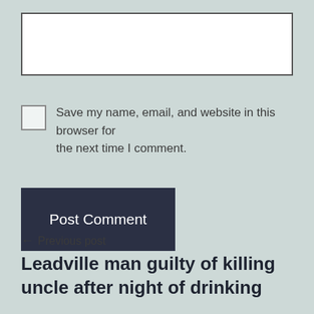[Figure (screenshot): A white text input box with a dark border, representing a comment form field.]
Save my name, email, and website in this browser for the next time I comment.
[Figure (screenshot): A dark navy button labeled 'Post Comment']
← Previous post
Leadville man guilty of killing uncle after night of drinking